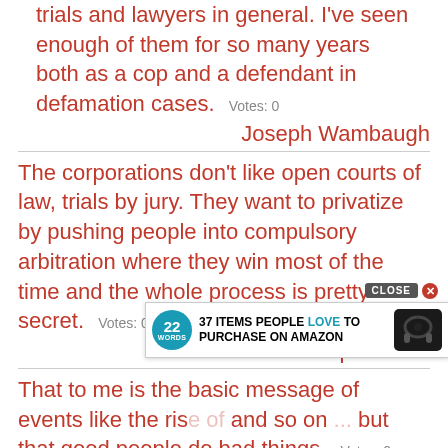trials and lawyers in general. I've seen enough of them for so many years both as a cop and a defendant in defamation cases. Votes: 0
Joseph Wambaugh
The corporations don't like open courts of law, trials by jury. They want to privatize by pushing people into compulsory arbitration where they win most of the time and the whole process is pretty secret. Votes: 0
Ralph Nader
That to me is the basic message of events like the ris[...] and so on [...] but that good people do bad things. Votes: 0
[Figure (other): Advertisement overlay: '37 ITEMS PEOPLE LOVE TO PURCHASE ON AMAZON' with 22Words badge and headphones image, with CLOSE button]